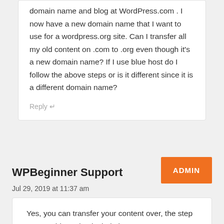domain name and blog at WordPress.com . I now have a new domain name that I want to use for a wordpress.org site. Can I transfer all my old content on .com to .org even though it's a new domain name? If I use blue host do I follow the above steps or is it different since it is a different domain name?
Reply ↵
WPBeginner Support
ADMIN
Jul 29, 2019 at 11:37 am
Yes, you can transfer your content over, the step you would need to include is you